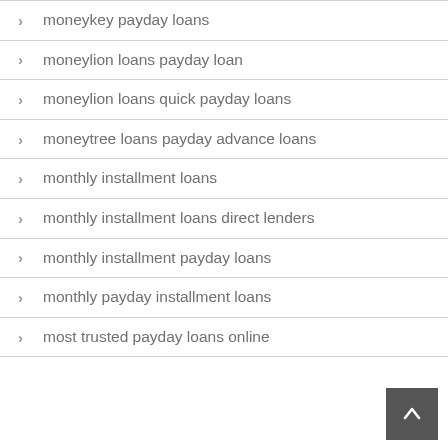moneykey payday loans
moneylion loans payday loan
moneylion loans quick payday loans
moneytree loans payday advance loans
monthly installment loans
monthly installment loans direct lenders
monthly installment payday loans
monthly payday installment loans
most trusted payday loans online